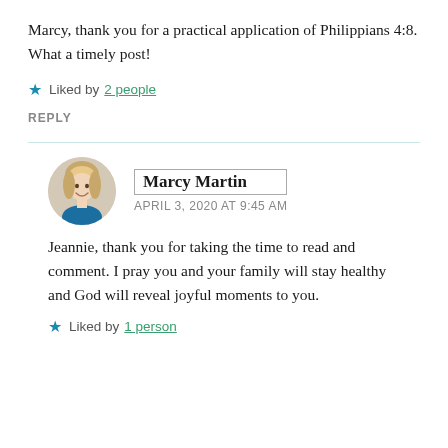Marcy, thank you for a practical application of Philippians 4:8. What a timely post!
Liked by 2 people
REPLY
Marcy Martin
APRIL 3, 2020 AT 9:45 AM
Jeannie, thank you for taking the time to read and comment. I pray you and your family will stay healthy and God will reveal joyful moments to you.
Liked by 1 person